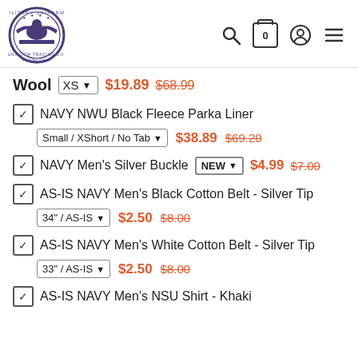[Figure (logo): Uniform Trading Co. circular logo with eagle emblem]
Search, Cart (0), Account, Menu icons
Wool | XS | $19.89  $68.99
☑ NAVY NWU Black Fleece Parka Liner | Small / XShort / No Tab | $38.89  $69.20
☑ NAVY Men's Silver Buckle | NEW | $4.99  $7.00
☑ AS-IS NAVY Men's Black Cotton Belt - Silver Tip | 34" / AS-IS | $2.50  $8.00
☑ AS-IS NAVY Men's White Cotton Belt - Silver Tip | 33" / AS-IS | $2.50  $8.00
☑ AS-IS NAVY Men's NSU Shirt - Khaki